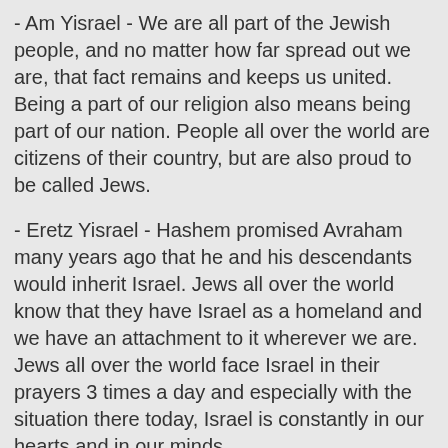- Am Yisrael - We are all part of the Jewish people, and no matter how far spread out we are, that fact remains and keeps us united. Being a part of our religion also means being part of our nation. People all over the world are citizens of their country, but are also proud to be called Jews.
- Eretz Yisrael - Hashem promised Avraham many years ago that he and his descendants would inherit Israel. Jews all over the world know that they have Israel as a homeland and we have an attachment to it wherever we are. Jews all over the world face Israel in their prayers 3 times a day and especially with the situation there today, Israel is constantly in our hearts and in our minds.
- Torat Yisrael - The Torah is more than a book of laws; it is an instruction manual for life. A living di... of the Jewish people, which shows us where we are